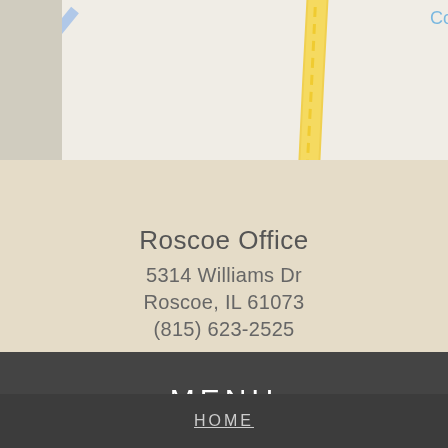[Figure (map): Partial Google Maps view showing streets with a yellow road and blue street lines on a light gray background, with 'Company Inc' labels visible at top.]
Roscoe Office
5314 Williams Dr
Roscoe, IL 61073
(815) 623-2525
[Figure (logo): Social media icons: Google+ (red), Facebook (blue f), Yelp (red)]
MENU
HOME